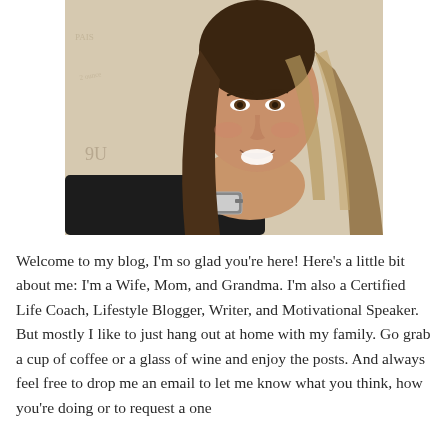[Figure (photo): A smiling woman with long brown-blonde hair, wearing a dark top and a silver watch, posing with her chin resting on her hand. Background has a vintage Paris map/script wallpaper.]
Welcome to my blog, I'm so glad you're here! Here's a little bit about me: I'm a Wife, Mom, and Grandma. I'm also a Certified Life Coach, Lifestyle Blogger, Writer, and Motivational Speaker. But mostly I like to just hang out at home with my family. Go grab a cup of coffee or a glass of wine and enjoy the posts. And always feel free to drop me an email to let me know what you think, how you're doing or to request a one